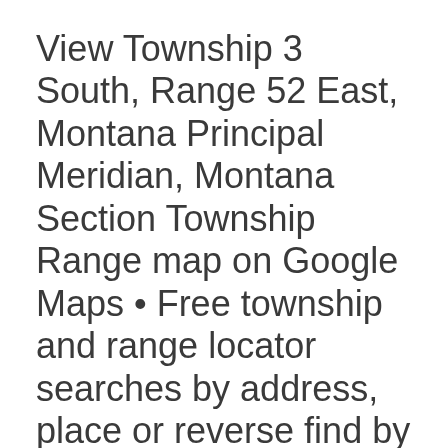View Township 3 South, Range 52 East, Montana Principal Meridian, Montana Section Township Range map on Google Maps • Free township and range locator searches by address, place or reverse find by land parcel description.
Just need an image? Scroll down the page to the Montana Section Township Range Map